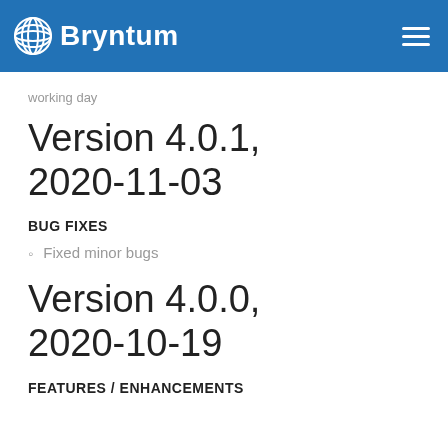Bryntum
working day
Version 4.0.1, 2020-11-03
BUG FIXES
Fixed minor bugs
Version 4.0.0, 2020-10-19
FEATURES / ENHANCEMENTS